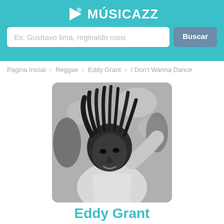[Figure (logo): Musicazz logo with play button icon and white text MÚSICAZZ on teal background]
Ex: Gusttavo lima, reginaldo rossi
Buscar
Página Inicial › Reggae › Eddy Grant › I Don't Wanna Dance
[Figure (photo): Black and white photo of Eddy Grant with dreadlocks, looking at camera, raising one arm, outdoors with blurred trees]
Eddy Grant